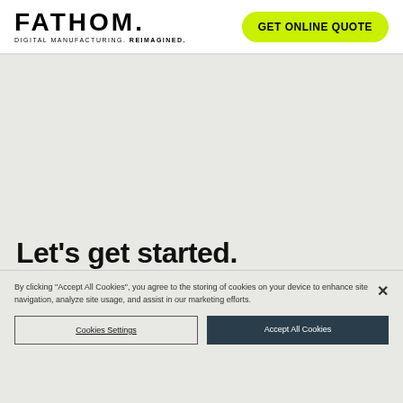FATHOM. DIGITAL MANUFACTURING. REIMAGINED.
[Figure (logo): FATHOM logo with tagline 'DIGITAL MANUFACTURING. REIMAGINED.' and green 'GET ONLINE QUOTE' button]
Let's get started.
By clicking "Accept All Cookies", you agree to the storing of cookies on your device to enhance site navigation, analyze site usage, and assist in our marketing efforts.
Cookies Settings
Accept All Cookies